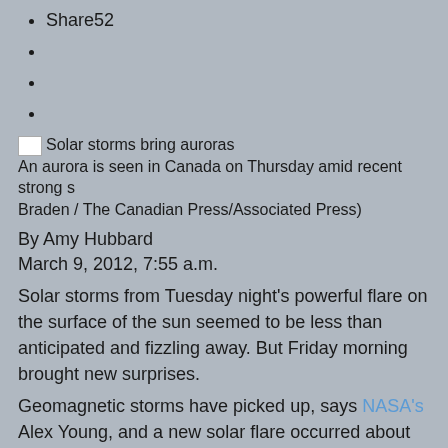Share52
Solar storms bring auroras
An aurora is seen in Canada on Thursday amid recent strong s Braden / The Canadian Press/Associated Press)
By Amy Hubbard
March 9, 2012, 7:55 a.m.
Solar storms from Tuesday night's powerful flare on the surface of the sun seemed to be less than anticipated and fizzling away. But Friday morning brought new surprises.
Geomagnetic storms have picked up, says NASA's Alex Young, and a new solar flare occurred about 7:30 p.m. PST on Thursday.
"Earth's magnetosphere continues its upset state," Young, a solar physicist with the Goddard Space Flight Center, says